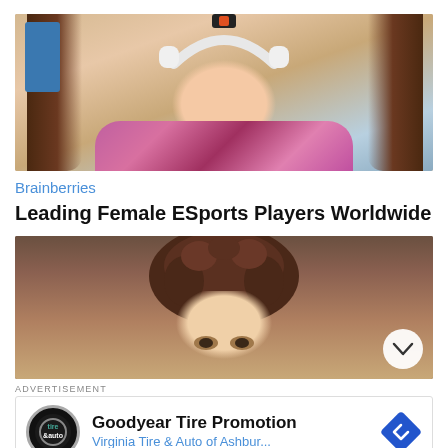[Figure (photo): Young woman with brown hair wearing white headphones and a floral top, sitting in a blue gaming chair, looking at camera]
Brainberries
Leading Female ESports Players Worldwide
[Figure (photo): Close-up of a young boy with curly dark hair, partially cropped, peering upward with eyes visible]
ADVERTISEMENT
Goodyear Tire Promotion
Virginia Tire & Auto of Ashbur...